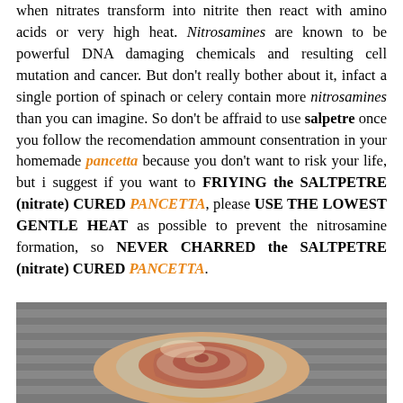when nitrates transform into nitrite then react with amino acids or very high heat. Nitrosamines are known to be powerful DNA damaging chemicals and resulting cell mutation and cancer. But don't really bother about it, infact a single portion of spinach or celery contain more nitrosamines than you can imagine. So don't be affraid to use salpetre once you follow the recomendation ammount consentration in your homemade pancetta because you don't want to risk your life, but i suggest if you want to FRIYING the SALTPETRE (nitrate) CURED PANCETTA, please USE THE LOWEST GENTLE HEAT as possible to prevent the nitrosamine formation, so NEVER CHARRED the SALTPETRE (nitrate) CURED PANCETTA.
[Figure (photo): Photo of rolled pancetta (cured meat) with visible layers of fat and meat, on a wooden surface]